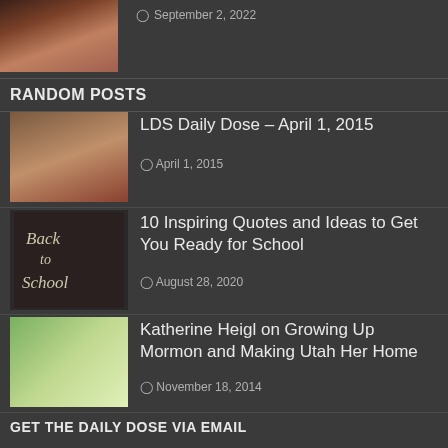[Figure (photo): Partial top post thumbnail image - religious/historical figures]
September 2, 2022
RANDOM POSTS
[Figure (photo): Thumbnail: LDS Daily Dose - religious scene]
LDS Daily Dose – April 1, 2015
April 1, 2015
[Figure (photo): Thumbnail: Back to School chalkboard sign]
10 Inspiring Quotes and Ideas to Get You Ready for School
August 28, 2020
[Figure (photo): Thumbnail: Katherine Heigl photo]
Katherine Heigl on Growing Up Mormon and Making Utah Her Home
November 18, 2014
GET THE DAILY DOSE VIA EMAIL
Email Address